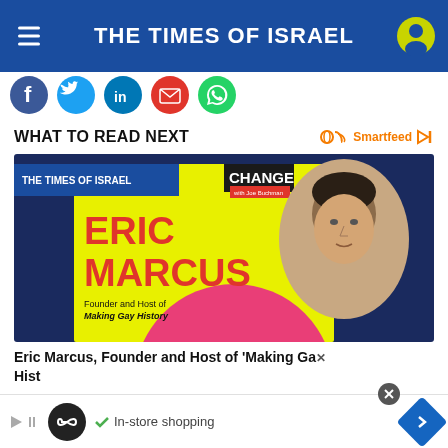THE TIMES OF ISRAEL
[Figure (screenshot): Social sharing icons: Facebook, Twitter, LinkedIn, Email, WhatsApp]
WHAT TO READ NEXT
[Figure (photo): Article thumbnail: Eric Marcus, Founder and Host of Making Gay History - promotional podcast image with yellow background and Eric Marcus portrait]
Eric Marcus, Founder and Host of 'Making Gay History'